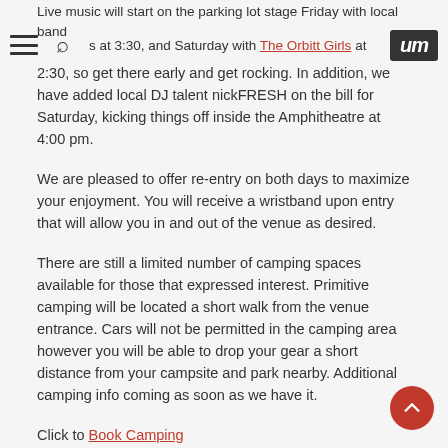Live music will start on the parking lot stage Friday with local band … at 3:30, and Saturday with The Orbitt Girls at 2:30, so get there early and get rocking. In addition, we have added local DJ talent nickFRESH on the bill for Saturday, kicking things off inside the Amphitheatre at 4:00 pm.
We are pleased to offer re-entry on both days to maximize your enjoyment. You will receive a wristband upon entry that will allow you in and out of the venue as desired.
There are still a limited number of camping spaces available for those that expressed interest. Primitive camping will be located a short walk from the venue entrance. Cars will not be permitted in the camping area however you will be able to drop your gear a short distance from your campsite and park nearby. Additional camping info coming as soon as we have it.
Click to Book Camping
A note about poster redemption: The Fort ticket holders will only be able to pick up their complementary Welker print at the merchandise booth. We are unable to accommodate requests to ship prints after the event.
All Fort ticket holders will be receiving emails today to initiate refunds should you not be able to join us.